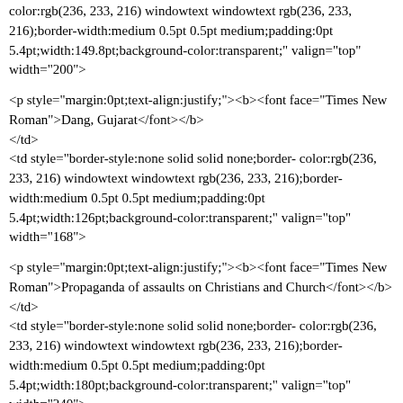color:rgb(236, 233, 216) windowtext windowtext rgb(236, 233, 216);border-width:medium 0.5pt 0.5pt medium;padding:0pt 5.4pt;width:149.8pt;background-color:transparent;" valign="top" width="200">
<p style="margin:0pt;text-align:justify;"><b><font face="Times New Roman">Dang, Gujarat</font></b>
</td>
<td style="border-style:none solid solid none;border-color:rgb(236, 233, 216) windowtext windowtext rgb(236, 233, 216);border-width:medium 0.5pt 0.5pt medium;padding:0pt 5.4pt;width:126pt;background-color:transparent;" valign="top" width="168">
<p style="margin:0pt;text-align:justify;"><b><font face="Times New Roman">Propaganda of assaults on Christians and Church</font></b>
</td>
<td style="border-style:none solid solid none;border-color:rgb(236, 233, 216) windowtext windowtext rgb(236, 233, 216);border-width:medium 0.5pt 0.5pt medium;padding:0pt 5.4pt;width:180pt;background-color:transparent;" valign="top" width="240">
<p style="margin:0pt;text-align:justify;"><b><font face="Times